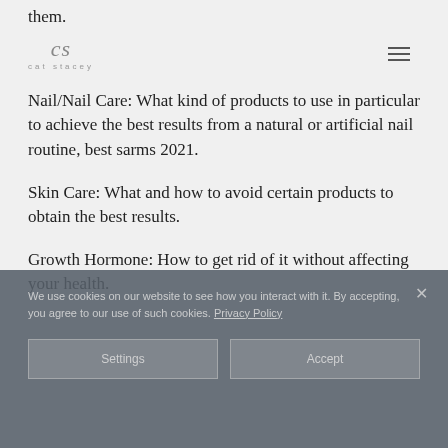them.
[Figure (logo): Cat Stacey logo with script lettering and 'cat stacey' text below, with hamburger menu icon to the right]
Nail/Nail Care: What kind of products to use in particular to achieve the best results from a natural or artificial nail routine, best sarms 2021.
Skin Care: What and how to avoid certain products to obtain the best results.
Growth Hormone: How to get rid of it without affecting your health.
Dry Skin and Tension Relief: How to get your skin looking much firmer with little to no
We use cookies on our website to see how you interact with it. By accepting, you agree to our use of such cookies. Privacy Policy
Settings
Accept